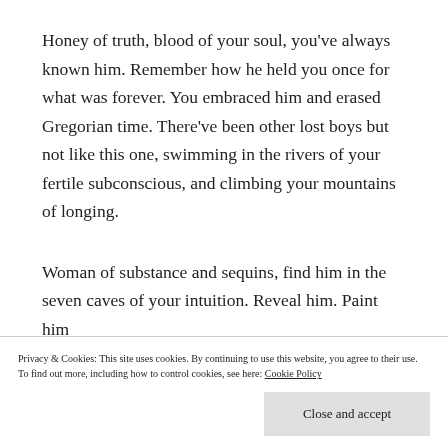Honey of truth, blood of your soul, you've always known him. Remember how he held you once for what was forever. You embraced him and erased Gregorian time. There've been other lost boys but not like this one, swimming in the rivers of your fertile subconscious, and climbing your mountains of longing.
Woman of substance and sequins, find him in the seven caves of your intuition. Reveal him. Paint him
You wear his deathless life, like a vintage dress of
Privacy & Cookies: This site uses cookies. By continuing to use this website, you agree to their use.
To find out more, including how to control cookies, see here: Cookie Policy